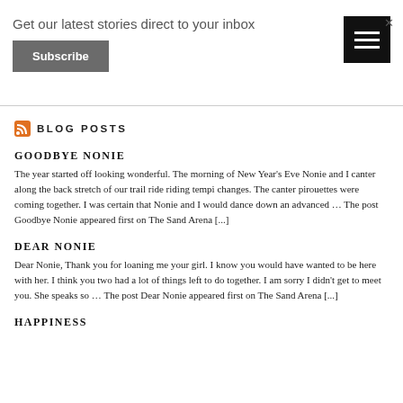Get our latest stories direct to your inbox
Subscribe
BLOG POSTS
GOODBYE NONIE
The year started off looking wonderful. The morning of New Year's Eve Nonie and I canter along the back stretch of our trail ride riding tempi changes. The canter pirouettes were coming together. I was certain that Nonie and I would dance down an advanced … The post Goodbye Nonie appeared first on The Sand Arena [...]
DEAR NONIE
Dear Nonie, Thank you for loaning me your girl. I know you would have wanted to be here with her. I think you two had a lot of things left to do together. I am sorry I didn't get to meet you. She speaks so … The post Dear Nonie appeared first on The Sand Arena [...]
HAPPINESS